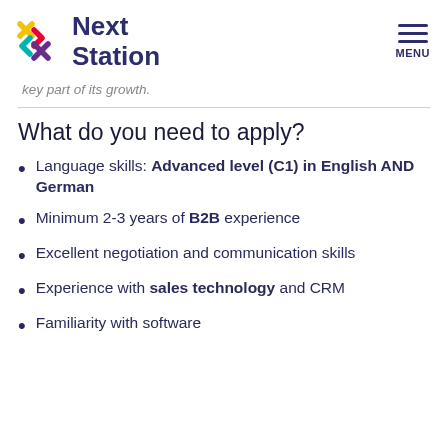Next Station — MENU
key part of its growth.
What do you need to apply?
Language skills: Advanced level (C1) in English AND German
Minimum 2-3 years of B2B experience
Excellent negotiation and communication skills
Experience with sales technology and CRM
Familiarity with software